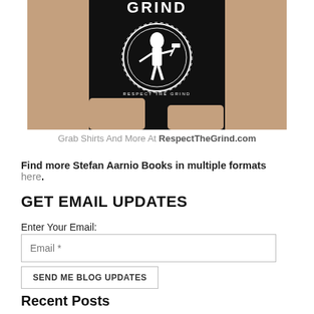[Figure (photo): Person wearing a black t-shirt with 'Respect The Grind' text and logo graphic (gear and warrior/knight figure). Only the torso and arms are visible.]
Grab Shirts And More At RespectTheGrind.com
Find more Stefan Aarnio Books in multiple formats here.
GET EMAIL UPDATES
Enter Your Email:
Email *
SEND ME BLOG UPDATES
Recent Posts